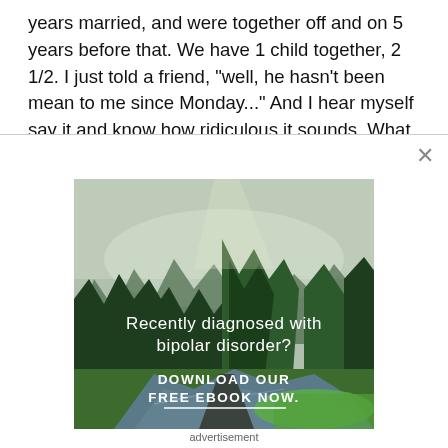years married, and were together off and on 5 years before that. We have 1 child together, 21/2. I just told a friend, "well, he hasn't been mean to me since Monday..." And I hear myself say it and know how ridiculous it sounds. What kills me the most is KNOWING this is a
[Figure (illustration): Advertisement banner showing a forest and river landscape with text overlay: 'Recently diagnosed with bipolar disorder? DOWNLOAD OUR FREE EBOOK NOW.' with a white underline beneath the CTA text.]
advertisement